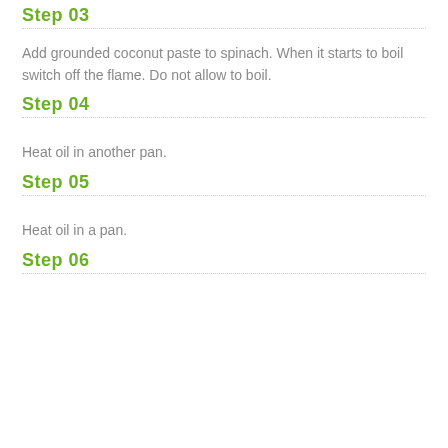along with cumin seeds and shallots.
Step 03
Add grounded coconut paste to spinach. When it starts to boil switch off the flame. Do not allow to boil.
Step 04
Heat oil in another pan.
Step 05
Heat oil in a pan.
Step 06